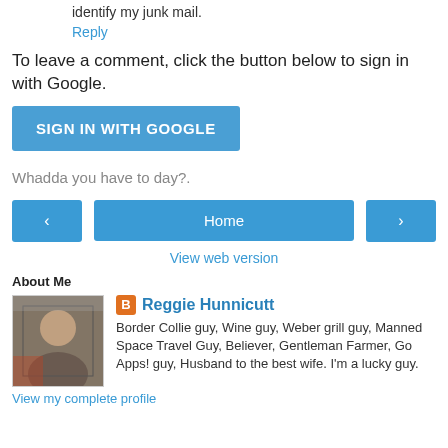identify my junk mail.
Reply
To leave a comment, click the button below to sign in with Google.
SIGN IN WITH GOOGLE
Whadda you have to day?.
‹
Home
›
View web version
About Me
[Figure (photo): Profile photo of Reggie Hunnicutt, a man in sunglasses sitting outdoors]
Reggie Hunnicutt
Border Collie guy, Wine guy, Weber grill guy, Manned Space Travel Guy, Believer, Gentleman Farmer, Go Apps! guy, Husband to the best wife. I'm a lucky guy.
View my complete profile